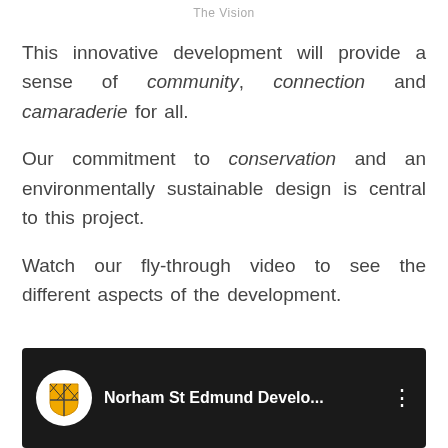The Vision
This innovative development will provide a sense of community, connection and camaraderie for all.
Our commitment to conservation and an environmentally sustainable design is central to this project.
Watch our fly-through video to see the different aspects of the development.
[Figure (screenshot): YouTube video thumbnail showing 'Norham St Edmund Develo...' with a shield/crest channel icon on a dark background]